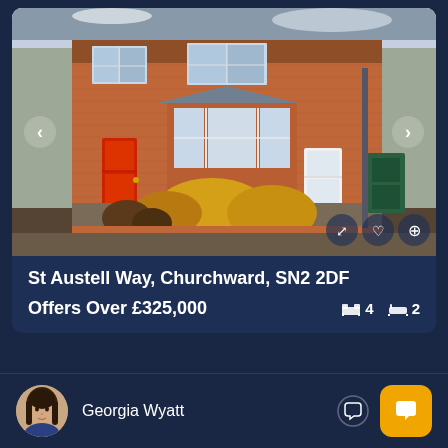[Figure (photo): Exterior photo of a red brick terraced house with bay window, white door, yellow bushes in front garden, with navigation arrows and action icons overlaid]
St Austell Way, Churchward, SN2 2DF
Offers Over £325,000   🛏 4   🚿 2
[Figure (photo): Circular avatar photo of agent Georgia Wyatt, a woman with long dark hair]
Georgia Wyatt